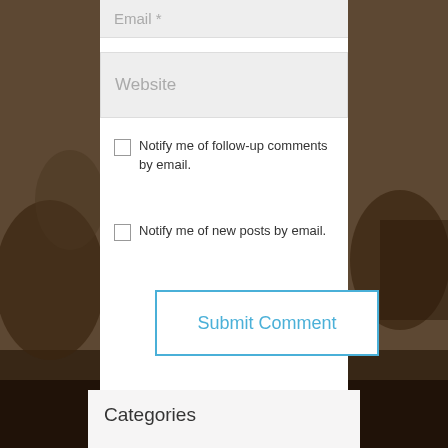[Figure (screenshot): Web form interface showing Email and Website input fields, two notification checkboxes, and a Submit Comment button, overlaid on a sepia-toned vintage photograph background]
Email *
Website
Notify me of follow-up comments by email.
Notify me of new posts by email.
Submit Comment
Categories